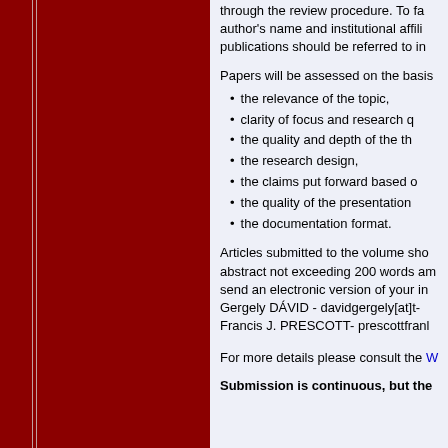through the review procedure. To fa author's name and institutional affili publications should be referred to in
Papers will be assessed on the basis
the relevance of the topic,
clarity of focus and research q
the quality and depth of the th
the research design,
the claims put forward based o
the quality of the presentation
the documentation format.
Articles submitted to the volume sho abstract not exceeding 200 words am send an electronic version of your in Gergely DÁVID - davidgergely[at]t- Francis J. PRESCOTT- prescottfranl
For more details please consult the W
Submission is continuous, but the